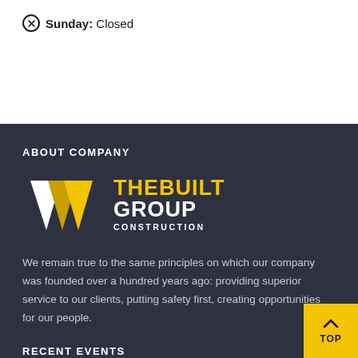Sunday: Closed
ABOUT COMPANY
[Figure (logo): TheBuilt Group Construction logo with yellow and white chevron/arrow shape and company name in yellow and white text]
We remain true to the same principles on which our company was founded over a hundred years ago: providing superior service to our clients, putting safety first, creating opportunities for our people.
RECENT EVENTS